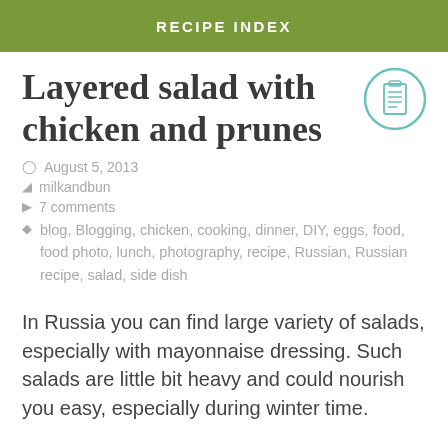RECIPE INDEX
Layered salad with chicken and prunes
August 5, 2013
milkandbun
7 comments
blog, Blogging, chicken, cooking, dinner, DIY, eggs, food, food photo, lunch, photography, recipe, Russian, Russian recipe, salad, side dish
In Russia you can find large variety of salads, especially with mayonnaise dressing. Such salads are little bit heavy and could nourish you easy, especially during winter time.